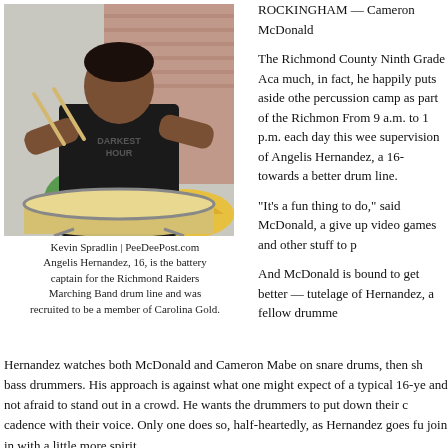[Figure (photo): A young man playing snare drums outdoors, wearing a dark t-shirt with 'Darkest Hour' text, holding drumsticks]
Kevin Spradlin | PeeDeePost.com
Angelis Hernandez, 16, is the battery captain for the Richmond Raiders Marching Band drum line and was recruited to be a member of Carolina Gold.
ROCKINGHAM — Cameron McDonald
The Richmond County Ninth Grade Aca much, in fact, he happily puts aside othe percussion camp as part of the Richmon From 9 a.m. to 1 p.m. each day this wee supervision of Angelis Hernandez, a 16- towards a better drum line.
“It’s a fun thing to do,” said McDonald, a give up video games and other stuff to p
And McDonald is bound to get better — tutelage of Hernandez, a fellow drumme
Hernandez watches both McDonald and Cameron Mabe on snare drums, then sh bass drummers. His approach is against what one might expect of a typical 16-ye and not afraid to stand out in a crowd. He wants the drummers to put down their c cadence with their voice. Only one does so, half-heartedly, as Hernandez goes fu join in with a little more spirit.
“You two are on it, you two are kinda shaky,” Hernandez offers with a quiet confide